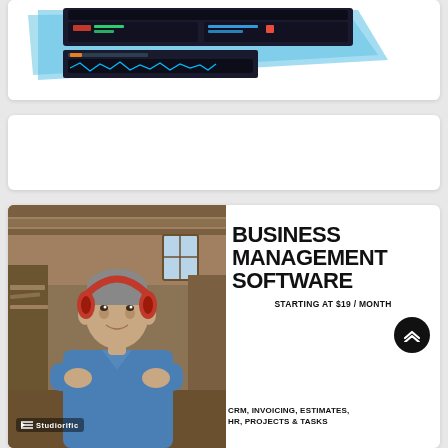[Figure (screenshot): Top card showing a software/plugin screenshot with blue geometric background and dark UI panels]
[Figure (other): Empty white card in the middle]
[Figure (photo): Advertisement for Studiorific business management software. Shows a man in a blue shirt with red headphones around his neck, arms crossed, in a workshop setting. Text reads: BUSINESS MANAGEMENT SOFTWARE, STARTING AT $19 / MONTH, CRM, INVOICING, ESTIMATES, HR, PROJECTS & TASKS. Studiorific logo at bottom left.]